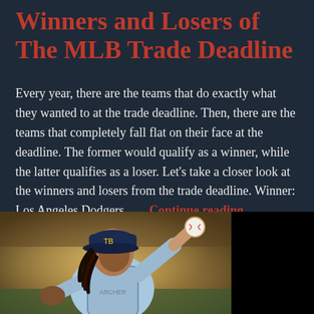Winners and Losers of The MLB Trade Deadline
Every year, there are the teams that do exactly what they wanted to at the trade deadline. Then, there are the teams that completely fall flat on their face at the deadline. The former would qualify as a winner, while the latter qualifies as a loser. Let’s take a closer look at the winners and losers from the trade deadline. Winner: Los Angeles Dodgers   … Continue reading
AUGUST 4, 2018 / LEAVE A COMMENT
[Figure (photo): A baseball pitcher in a light blue Tampa Bay Rays uniform and navy cap with dreadlocks, in mid-pitch motion, holding a baseball. Stadium background blurred. Right portion of image is black.]